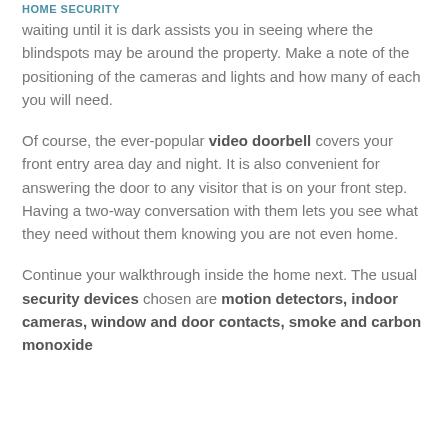HOME SECURITY
waiting until it is dark assists you in seeing where the blindspots may be around the property. Make a note of the positioning of the cameras and lights and how many of each you will need.
Of course, the ever-popular video doorbell covers your front entry area day and night. It is also convenient for answering the door to any visitor that is on your front step. Having a two-way conversation with them lets you see what they need without them knowing you are not even home.
Continue your walkthrough inside the home next. The usual security devices chosen are motion detectors, indoor cameras, window and door contacts, smoke and carbon monoxide